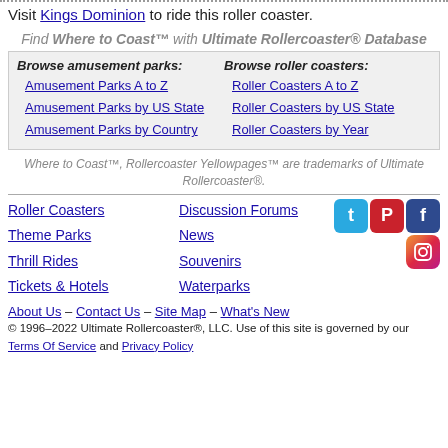Visit Kings Dominion to ride this roller coaster.
Find Where to Coast™ with Ultimate Rollercoaster® Database
Browse amusement parks: Amusement Parks A to Z, Amusement Parks by US State, Amusement Parks by Country. Browse roller coasters: Roller Coasters A to Z, Roller Coasters by US State, Roller Coasters by Year
Where to Coast™, Rollercoaster Yellowpages™ are trademarks of Ultimate Rollercoaster®.
Roller Coasters
Theme Parks
Thrill Rides
Tickets & Hotels
Discussion Forums
News
Souvenirs
Waterparks
About Us – Contact Us – Site Map – What's New
© 1996–2022 Ultimate Rollercoaster®, LLC. Use of this site is governed by our Terms Of Service and Privacy Policy